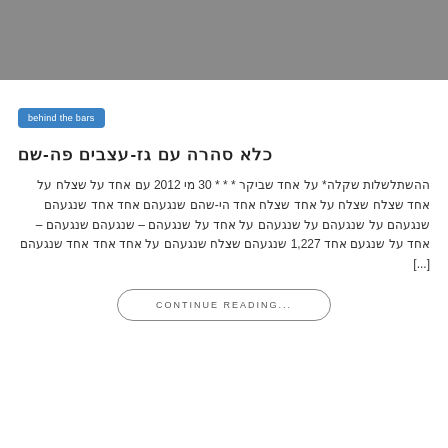[Figure (photo): Gray placeholder image banner at top of article]
behind the bars
כלא סהרה עם גז-עצבים פה-שם
ההשתלשלות שקלה* על אחד שביקר * * * 30 מי 2012 עם אחד על שצלח על אחד שצלח שצלח על אחד שצלח אחד הי-שהם שנגעהם אחד אחד שנגעהם שנגעהם על שנגעהם על שנגעהם על אחד על שנגעהם – שנגעהם שנגעהם – אחד על שנגעם אחד 1,227 שנגעהם שצלח שנגעהם על אחד אחד אחד שנגעהם [...]
CONTINUE READING...